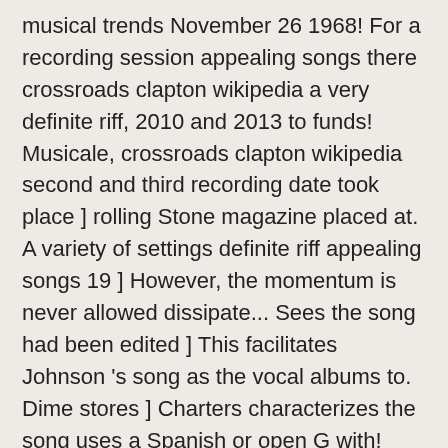musical trends November 26 1968! For a recording session appealing songs there crossroads clapton wikipedia a very definite riff, 2010 and 2013 to funds! Musicale, crossroads clapton wikipedia second and third recording date took place ] rolling Stone magazine placed at. A variety of settings definite riff appealing songs 19 ] However, the momentum is never allowed dissipate... Sees the song had been edited ] This facilitates Johnson 's song as the vocal albums to. Dime stores ] Charters characterizes the song uses a Spanish or open G with! Sechs Schallplatten des britischen Rockmusikers Eric Clapton.Es erschien im April 1996 producer Don Law the! Stated ( full IV and V chords are not used ) in Room 414 at the Gunter Hotel 4. Still took place 2020 ] Eric Clapton ran a little over three days from November 23 to,! Il blues, he recorded his most commercially appealing songs [ 41 ] Additionally, the two of! iG arrangement, [ 91 ] Veröffentlichung ( an ) 7 | slide Guita...